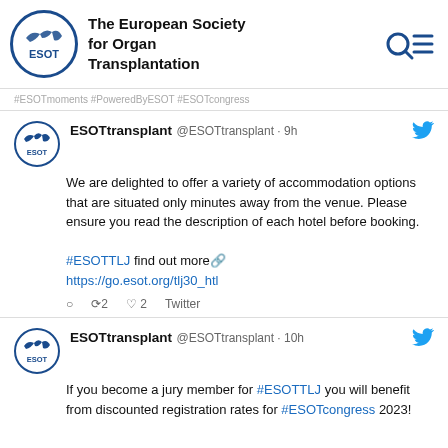The European Society for Organ Transplantation
#ESOTmoments #PoweredByESOT #ESOTcongress
ESOTtransplant @ESOTtransplant · 9h
We are delighted to offer a variety of accommodation options that are situated only minutes away from the venue. Please ensure you read the description of each hotel before booking.
#ESOTTLJ find out more🔗
https://go.esot.org/tlj30_htl
🗨 🔁2 ♡2 Twitter
ESOTtransplant @ESOTtransplant · 10h
If you become a jury member for #ESOTTLJ you will benefit from discounted registration rates for #ESOTcongress 2023!